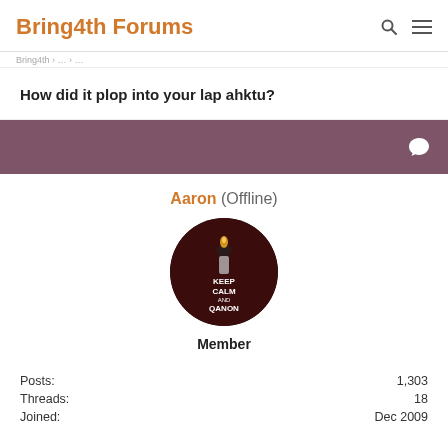Bring4th Forums
How did it plop into your lap ahktu?
[Figure (other): Purple/mauve colored bar with a white chat/speech bubble icon on the right side]
Aaron (Offline)
[Figure (photo): Circular avatar image with dark red/maroon background showing a figure and text reading KEEP CALM AND QANON]
Member
|  |  |
| --- | --- |
| Posts: | 1,303 |
| Threads: | 18 |
| Joined: | Dec 2009 |